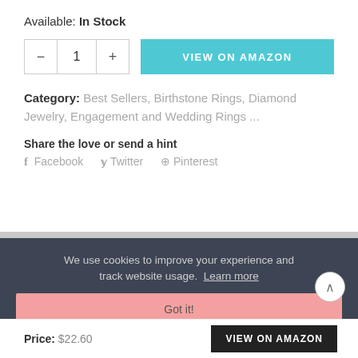Available: In Stock
- 1 + VIEW ON AMAZON
Category: Best Sellers, Birthstone Rings, Diamond Jewelry, Engagement and Wedding Rings ...
Share the love or send a hint
f Facebook  y Twitter  @ Pinterest
DESCRIPTION
WHY SHOP AT 4ASHOPONLINE
We use cookies to improve your experience and track website usage.  Learn more
Got it!
CREATE A SPECIAL GIFT
Price: $22.60
VIEW ON AMAZON